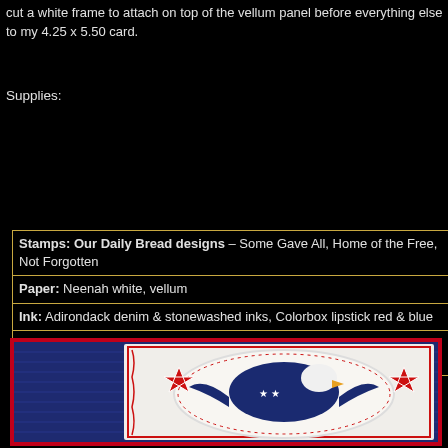cut a white frame to attach on top of the vellum panel before everything else to my 4.25 x 5.50 card.
Supplies:
| Stamps: Our Daily Bread designs – Some Gave All, Home of the Free, Not Forgotten |
| Paper: Neenah white, vellum |
| Ink: Adirondack denim & stonewashed inks, Colorbox lipstick red & blue |
| Accessories: Spellbinders star & square dies (resized to make frame and star punch |
[Figure (photo): Patriotic handmade card featuring a bald eagle stamp on an oval white panel with red scroll border frame, flanked by red and white striped star die cuts, set against a denim blue stamped background, inside a red frame border.]